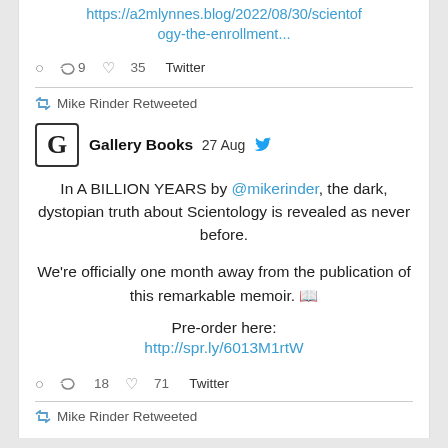https://a2mlynnes.blog/2022/08/30/scientology-the-enrollment...
○ ↺ 9  ♡ 35  Twitter
↺ Mike Rinder Retweeted
Gallery Books  27 Aug
In A BILLION YEARS by @mikerinder, the dark, dystopian truth about Scientology is revealed as never before.

We're officially one month away from the publication of this remarkable memoir. 📖

Pre-order here:
http://spr.ly/6013M1rtW
○ ↺ 18  ♡ 71  Twitter
↺ Mike Rinder Retweeted